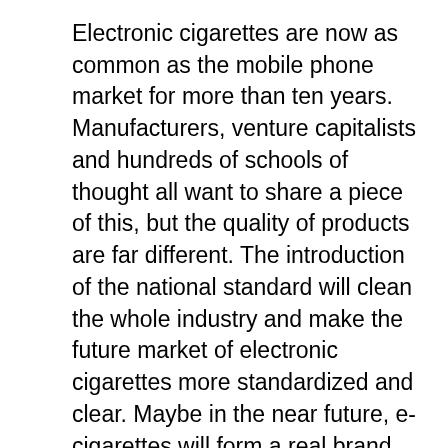Electronic cigarettes are now as common as the mobile phone market for more than ten years. Manufacturers, venture capitalists and hundreds of schools of thought all want to share a piece of this, but the quality of products are far different. The introduction of the national standard will clean the whole industry and make the future market of electronic cigarettes more standardized and clear. Maybe in the near future, e-cigarettes will form a real brand ranking just like the mobile phone market. When people buy it, they will feel the same as the mobile phone, such as: apple, Huawei, Samsung, Xiaomi, etc.